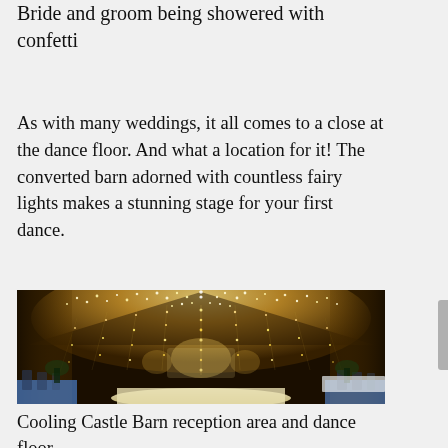Bride and groom being showered with confetti
As with many weddings, it all comes to a close at the dance floor. And what a location for it! The converted barn adorned with countless fairy lights makes a stunning stage for your first dance.
[Figure (photo): Interior of Cooling Castle Barn decorated with thousands of fairy lights cascading from the ceiling and walls, creating a golden glow over the dance floor and reception area with chairs and tables on either side.]
Cooling Castle Barn reception area and dance floor